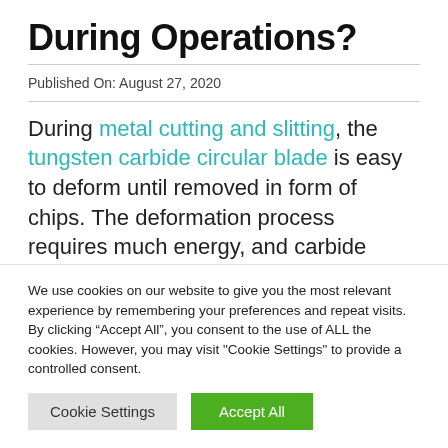During Operations?
Published On: August 27, 2020
During metal cutting and slitting, the tungsten carbide circular blade is easy to deform until removed in form of chips. The deformation process requires much energy, and carbide circular knives for metal cutting
We use cookies on our website to give you the most relevant experience by remembering your preferences and repeat visits. By clicking “Accept All”, you consent to the use of ALL the cookies. However, you may visit "Cookie Settings" to provide a controlled consent.